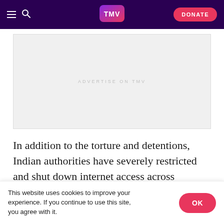TMV navigation header with hamburger menu, search icon, TMV logo, and DONATE button
[Figure (other): Advertisement placeholder area with text ADVERTISE ON TMV]
In addition to the torture and detentions, Indian authorities have severely restricted and shut down internet access across Kashmir, with an estimated seven million Kashmiris currently cut off from the world
This website uses cookies to improve your experience. If you continue to use this site, you agree with it.